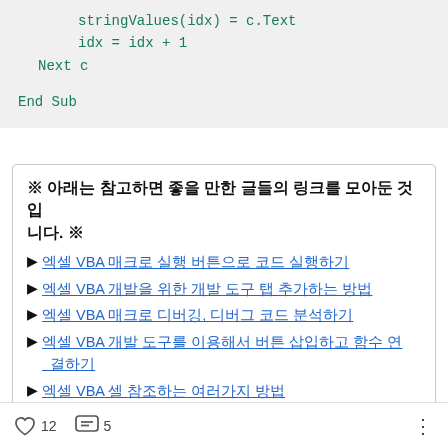stringValues(idx) = c.Text
        idx = idx + 1
    Next c

End Sub
※ 아래는 참고하면 좋을 만한 글들의 링크를 모아둔 것입니다. ※
▶ 엑셀 VBA 매크로 실행 버튼으로 코드 실행하기
▶ 엑셀 VBA 개발을 위한 개발 도구 탭 추가하는 방법
▶ 엑셀 VBA 매크로 디버깅, 디버그 코드 분석하기
▶ 엑셀 VBA 개발 도구를 이용해서 버튼 삽입하고 함수 연결하기
▶ 엑셀 VBA 셀 참조하는 여러가지 방법
♡ 12  💬 5